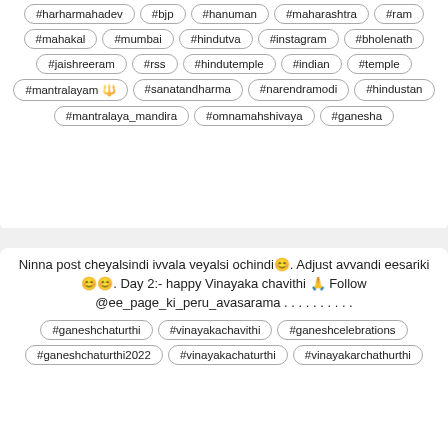#harharmahadev #bjp #hanuman #maharashtra #ram #mahakal #mumbai #hindutva #instagram #bholenath #jaishr eeram #rss #hindutemple #indian #temple #mantralayam 🔱 #sanatandharma #narendramodi #hindustan #mantralaya_mandira #omnamahshivaya #ganesha
Ninna post cheyalsindi ivvala veyalsi ochindi😊. Adjust avvandi eesariki 😊😊. Day 2:- happy Vinayaka chavithi 🙏 Follow @ee_page_ki_peru_avasarama . . . . . . . . . . #ganeshchaturthi #vinayakachavithi #ganeshcelebrations #ganeshchaturthi2022 #vinayakachaturthi #vinayakarchathurthi